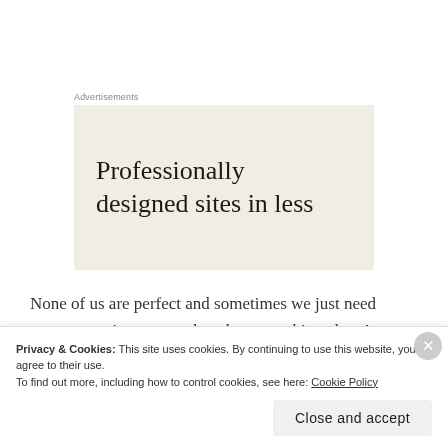Advertisements
[Figure (other): Advertisement banner with beige background showing text: Professionally designed sites in less]
None of us are perfect and sometimes we just need someone to just accept that above anything else. A simple act of kindness like listening or even standing up for someone can really go a long way. Is
Privacy & Cookies: This site uses cookies. By continuing to use this website, you agree to their use.
To find out more, including how to control cookies, see here: Cookie Policy
Close and accept